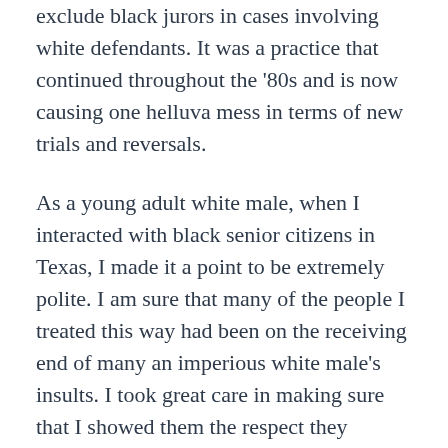exclude black jurors in cases involving white defendants. It was a practice that continued throughout the '80s and is now causing one helluva mess in terms of new trials and reversals.
As a young adult white male, when I interacted with black senior citizens in Texas, I made it a point to be extremely polite. I am sure that many of the people I treated this way had been on the receiving end of many an imperious white male's insults. I took great care in making sure that I showed them the respect they deserved. For some, I may have been the first adult white male to act respectfully toward them.